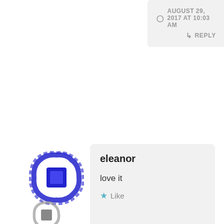AUGUST 29, 2017 AT 10:03 AM
REPLY
[Figure (illustration): Blue cartoon avatar icon with decorative border]
eleanor
love it
Like
AUGUST 25, 2017 AT 10:43 AM
REPLY
[Figure (illustration): Partial avatar icon at bottom left]